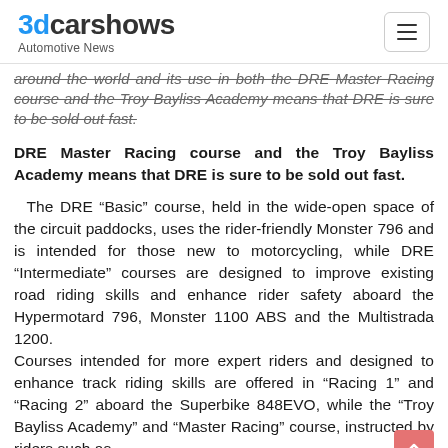3dcarshows Automotive News
around the world and its use in both the DRE Master Racing course and the Troy Bayliss Academy means that DRE is sure to be sold out fast.
The DRE “Basic” course, held in the wide-open space of the circuit paddocks, uses the rider-friendly Monster 796 and is intended for those new to motorcycling, while DRE “Intermediate” courses are designed to improve existing road riding skills and enhance rider safety aboard the Hypermotard 796, Monster 1100 ABS and the Multistrada 1200. Courses intended for more expert riders and designed to enhance track riding skills are offered in “Racing 1” and “Racing 2” aboard the Superbike 848EVO, while the “Troy Bayliss Academy” and “Master Racing” course, instructed by riders such as